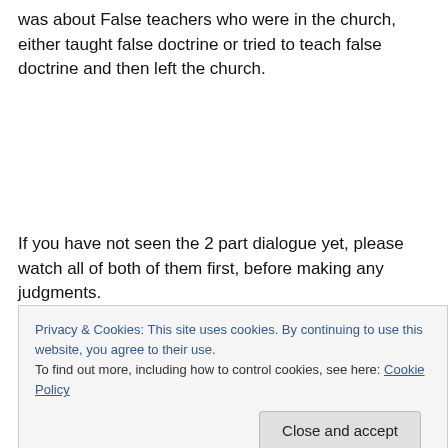was about False teachers who were in the church, either taught false doctrine or tried to teach false doctrine and then left the church.
If you have not seen the 2 part dialogue yet, please watch all of both of them first, before making any judgments.
Also, Dr. White has devoted 3 whole programs of the
Privacy & Cookies: This site uses cookies. By continuing to use this website, you agree to their use.
To find out more, including how to control cookies, see here: Cookie Policy
Close and accept